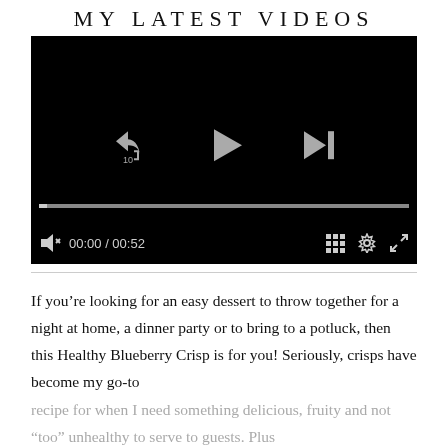MY LATEST VIDEOS
[Figure (screenshot): Embedded video player with black background showing playback controls: rewind 10s button, play button, skip-next button, a progress bar near the bottom, mute icon, time display '00:00 / 00:52', grid icon, settings gear icon, and fullscreen icon.]
If you’re looking for an easy dessert to throw together for a night at home, a dinner party or to bring to a potluck, then this Healthy Blueberry Crisp is for you! Seriously, crisps have become my go-to recipe for when I need something delicious, fruity and not “too” unhealthy to serve to guests. Plus